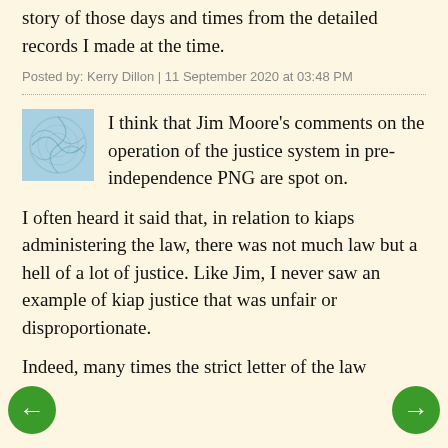story of those days and times from the detailed records I made at the time.
Posted by: Kerry Dillon | 11 September 2020 at 03:48 PM
I think that Jim Moore's comments on the operation of the justice system in pre-independence PNG are spot on.
I often heard it said that, in relation to kiaps administering the law, there was not much law but a hell of a lot of justice. Like Jim, I never saw an example of kiap justice that was unfair or disproportionate.
Indeed, many times the strict letter of the law